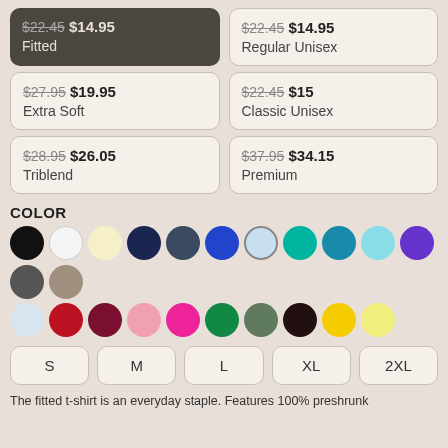$22.45 $14.95 Fitted (dark card, selected)
$22.45 $14.95 Regular Unisex
$27.95 $19.95 Extra Soft
$22.45 $15 Classic Unisex
$28.95 $26.05 Triblend
$37.95 $34.15 Premium
COLOR
[Figure (infographic): Color swatches: black, white, cream/yellow-white, navy, dark blue-grey, royal blue, light blue (outlined), teal/dark cyan, medium teal, light cyan, purple, dark grey, tan/khaki, light lavender/ice blue, red, maroon/dark red, pink, hot pink/magenta, green, olive/dark sage, dark brown/near black, yellow, light yellow]
S
M
L
XL
2XL
The fitted t-shirt is an everyday staple. Features 100% preshrunk